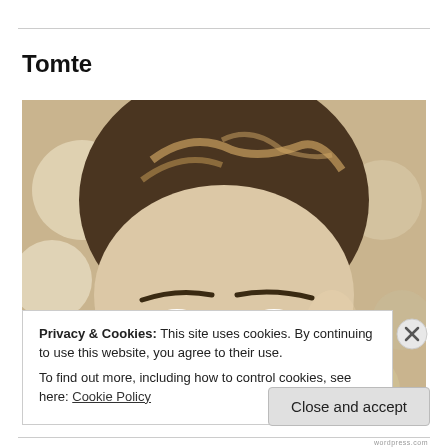Tomte
[Figure (photo): Close-up photograph of a young man with green eyes, brown highlighted hair, against a bokeh golden/white background]
Privacy & Cookies: This site uses cookies. By continuing to use this website, you agree to their use.
To find out more, including how to control cookies, see here: Cookie Policy
Close and accept